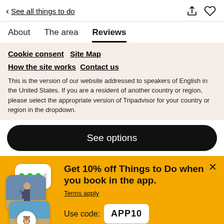< See all things to do
About  The area  Reviews
Cookie consent  Site Map
How the site works  Contact us
This is the version of our website addressed to speakers of English in the United States. If you are a resident of another country or region, please select the appropriate version of Tripadvisor for your country or region in the dropdown.
See options
[Figure (screenshot): App promotional banner on yellow background showing stacked cards with photos and Tripadvisor owl logo]
Get 10% off Things to Do when you book in the app.
Terms apply
Use code: APP10
Shop now